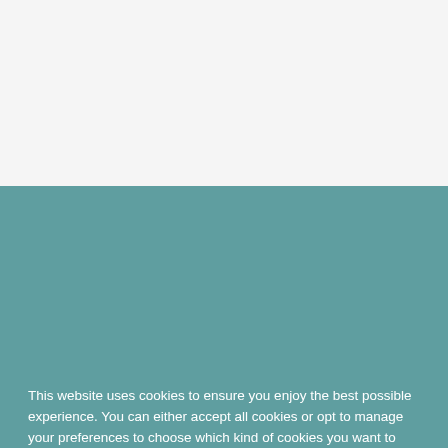[Figure (screenshot): Top section of a webpage with light gray background and a thin white bar at the top]
This website uses cookies to ensure you enjoy the best possible experience. You can either accept all cookies or opt to manage your preferences to choose which kind of cookies you want to disable. For more information about how we use each type of cookie just click on its name. You can view our cookie policy here
You can view our privacy policy here
Manage my preferences ▽
I'm cool with the odd cookie :-)